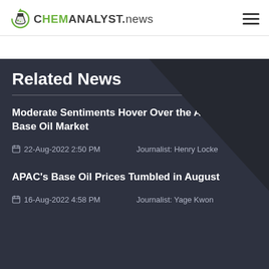CHEMANALYST.NEWS
Related News
Moderate Sentiments Hover Over the America Base Oil Market
22-Aug-2022 2:50 PM    Journalist: Henry Locke
APAC's Base Oil Prices Tumbled in August
16-Aug-2022 4:58 PM    Journalist: Yage Kwon